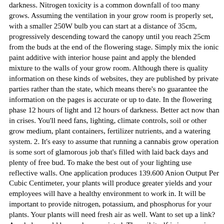darkness. Nitrogen toxicity is a common downfall of too many grows. Assuming the ventilation in your grow room is properly set, with a smaller 250W bulb you can start at a distance of 35cm, progressively descending toward the canopy until you reach 25cm from the buds at the end of the flowering stage. Simply mix the ionic paint additive with interior house paint and apply the blended mixture to the walls of your grow room. Although there is quality information on these kinds of websites, they are published by private parties rather than the state, which means there's no guarantee the information on the pages is accurate or up to date. In the flowering phase 12 hours of light and 12 hours of darkness. Better act now than in crises. You'll need fans, lighting, climate controls, soil or other grow medium, plant containers, fertilizer nutrients, and a watering system. 2. It's easy to assume that running a cannabis grow operation is some sort of glamorous job that's filled with laid back days and plenty of free bud. To make the best out of your lighting use reflective walls. One application produces 139.600 Anion Output Per Cubic Centimeter, your plants will produce greater yields and your employees will have a healthy environment to work in. It will be important to provide nitrogen, potassium, and phosphorus for your plants. Your plants will need fresh air as well. Want to set up a link? Any help would be much appreciated. The soil itself is inexpensive, and it doesn't require the additional equipment hydroponic growing requires, such as nutrient and air pumps. So today I decided to make a few